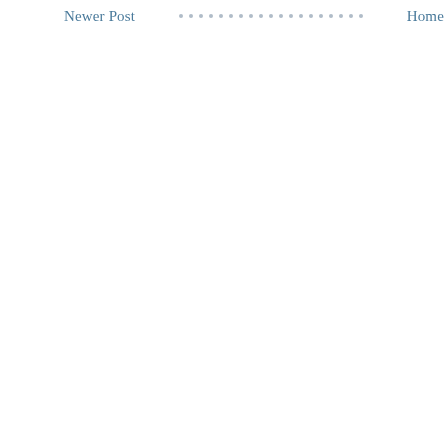Newer Post · · · · · · · · · · · · · · · · · · Home